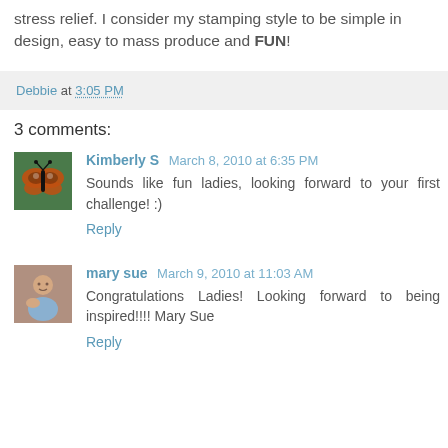stress relief. I consider my stamping style to be simple in design, easy to mass produce and FUN!
Debbie at 3:05 PM
3 comments:
Kimberly S  March 8, 2010 at 6:35 PM
Sounds like fun ladies, looking forward to your first challenge! :)
Reply
mary sue  March 9, 2010 at 11:03 AM
Congratulations Ladies! Looking forward to being inspired!!!! Mary Sue
Reply